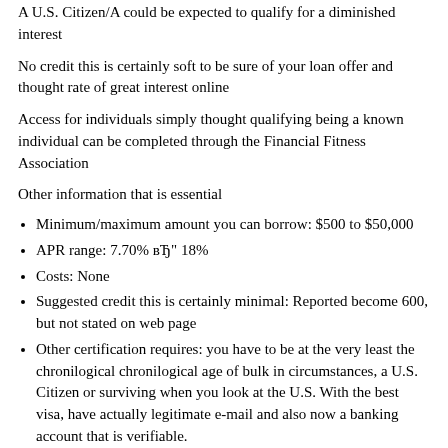A U.S. Citizen/A could be expected to qualify for a diminished interest
No credit this is certainly soft to be sure of your loan offer and thought rate of great interest online
Access for individuals simply thought qualifying being a known individual can be completed through the Financial Fitness Association
Other information that is essential
Minimum/maximum amount you can borrow: $500 to $50,000
APR range: 7.70% – 18%
Costs: None
Suggested credit this is certainly minimal: Reported become 600, but not stated on web page
Other certification requires: you have to be at the very least the chronilogical chronilogical age of bulk in circumstances, a U.S. Citizen or surviving when you look at the U.S. With the best visa, have actually legitimate e-mail and also now a banking account that is verifiable.
Repayment terms: choose from 24 and 84 months (two or seven years).
Time and energy to get funds: after the company time this is